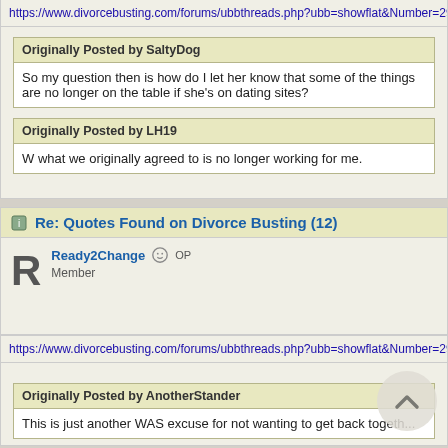https://www.divorcebusting.com/forums/ubbthreads.php?ubb=showflat&Number=2911...
Originally Posted by SaltyDog
So my question then is how do I let her know that some of the things are no longer on the table if she's on dating sites?
Originally Posted by LH19
W what we originally agreed to is no longer working for me.
Re: Quotes Found on Divorce Busting (12)
Ready2Change OP Member
https://www.divorcebusting.com/forums/ubbthreads.php?ubb=showflat&Number=2911...
Originally Posted by AnotherStander
This is just another WAS excuse for not wanting to get back togeth...